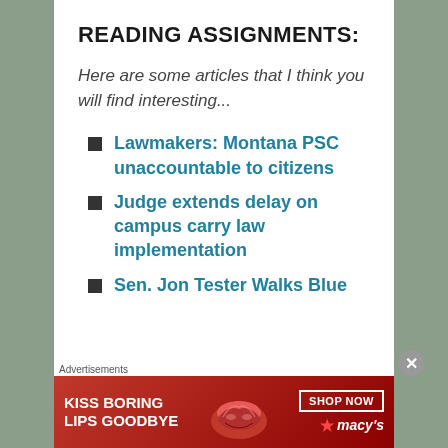READING ASSIGNMENTS:
Here are some articles that I think you will find interesting...
Lawmakers: Montana PSC unaccountable to citizens
Judge extends delay on campus carry law implementation
Sen. Jon Tester Walks Blue
[Figure (advertisement): Macy's lip product advertisement: KISS BORING LIPS GOODBYE with SHOP NOW button and Macy's star logo]
Advertisements